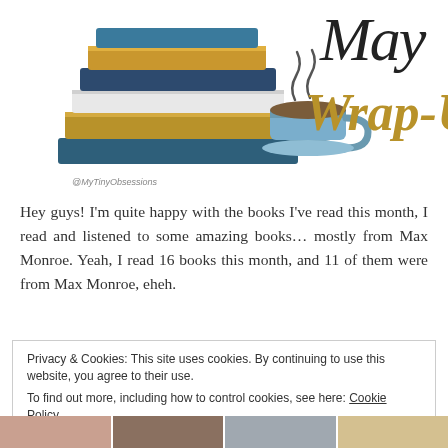[Figure (illustration): Blog header illustration showing a stack of books in teal, gold, and white colors next to a teal coffee cup with steam, and cursive/script text reading 'May Wrap-Up' in black and gold. Watermark '@MyTinyObsessions' visible.]
Hey guys! I'm quite happy with the books I've read this month, I read and listened to some amazing books… mostly from Max Monroe. Yeah, I read 16 books this month, and 11 of them were from Max Monroe, eheh.
Privacy & Cookies: This site uses cookies. By continuing to use this website, you agree to their use.
To find out more, including how to control cookies, see here: Cookie Policy
[Figure (photo): Bottom strip showing four small thumbnail photos, partially visible at the bottom of the page.]